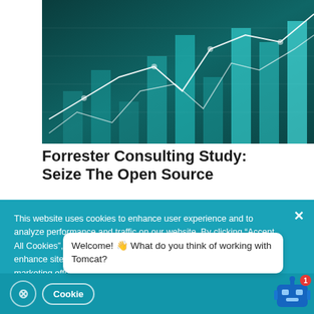[Figure (illustration): Dark teal financial chart illustration showing bar charts and a white line graph trending upward on a dark background]
Forrester Consulting Study: Seize The Open Source
This website uses cookies to enhance user experience and to analyze performance and traffic on our website. By clicking “Accept All Cookies”, you agree to the storing of cookies on your device to enhance site navigation, analyze site usage, and assist in our marketing efforts.
Welcome! 👋 What do you think of working with Tomcat?